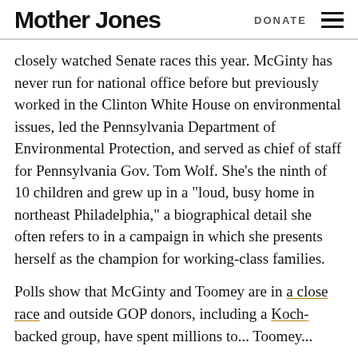Mother Jones | DONATE
closely watched Senate races this year. McGinty has never run for national office before but previously worked in the Clinton White House on environmental issues, led the Pennsylvania Department of Environmental Protection, and served as chief of staff for Pennsylvania Gov. Tom Wolf. She’s the ninth of 10 children and grew up in a “loud, busy home in northeast Philadelphia,” a biographical detail she often refers to in a campaign in which she presents herself as the champion for working-class families.
Polls show that McGinty and Toomey are in a close race and outside GOP donors, including a Koch-backed group, have spent millions to... Toomey...